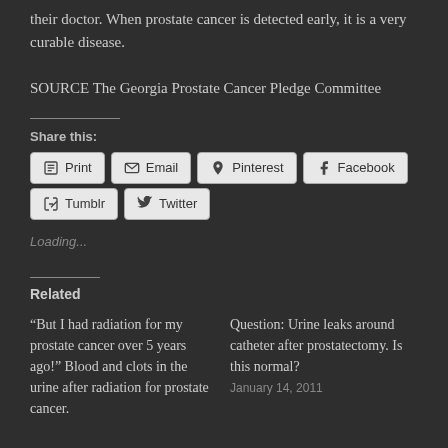their doctor. When prostate cancer is detected early, it is a very curable disease.
SOURCE The Georgia Prostate Cancer Pledge Committee
Share this:
Print Email Pinterest Facebook Tumblr Twitter
Loading...
Related
“But I had radiation for my prostate cancer over 5 years ago!” Blood and clots in the urine after radiation for prostate cancer.
Question: Urine leaks around catheter after prostatectomy. Is this normal?
January 14, 2011